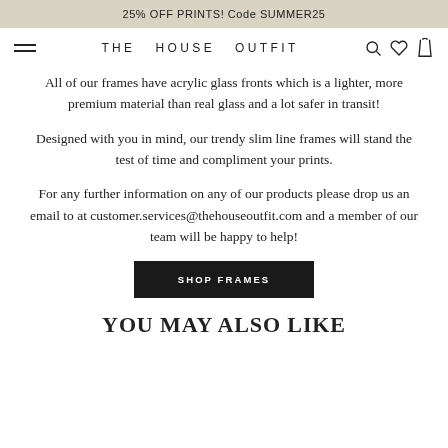25% OFF PRINTS! Code SUMMER25
THE HOUSE OUTFIT
All of our frames have acrylic glass fronts which is a lighter, more premium material than real glass and a lot safer in transit!
Designed with you in mind, our trendy slim line frames will stand the test of time and compliment your prints.
For any further information on any of our products please drop us an email to at customer.services@thehouseoutfit.com and a member of our team will be happy to help!
SHOP FRAMES
YOU MAY ALSO LIKE